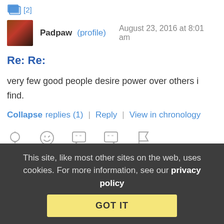[Figure (illustration): Reply/thread icon with [2] label in blue]
Padpaw (profile) August 23, 2016 at 8:01 am
Re: Re:
very few good people desire power over others i find.
Collapse replies (1) | Reply | View in chronology
[Figure (illustration): Row of reaction/action icons: lightbulb, laugh emoji, open quote bubble, close quote bubble, flag]
[Figure (illustration): Reply/thread icon with [3] label in blue]
This site, like most other sites on the web, uses cookies. For more information, see our privacy policy
GOT IT